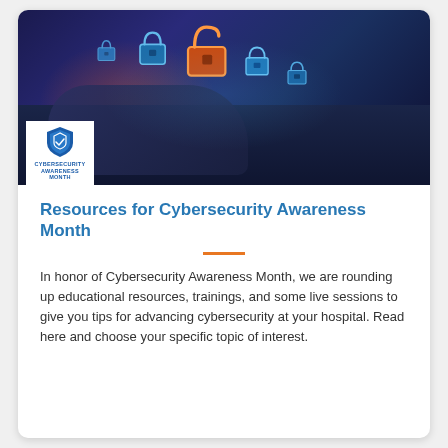[Figure (photo): Photo of hands typing on a laptop keyboard with glowing blue padlock icons floating above it, and a Cybersecurity Awareness Month badge/logo overlaid in the lower-left corner of the image.]
Resources for Cybersecurity Awareness Month
In honor of Cybersecurity Awareness Month, we are rounding up educational resources, trainings, and some live sessions to give you tips for advancing cybersecurity at your hospital. Read here and choose your specific topic of interest.